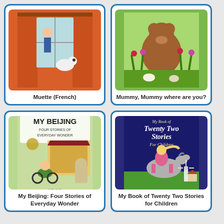[Figure (illustration): Book cover of Muette (French) showing a child peeking behind orange curtains with a dog]
Muette (French)
[Figure (illustration): Book cover of Mummy, Mummy where are you? showing a bear among grass and flowers]
Mummy, Mummy where are you?
[Figure (illustration): Book cover of My Beijing: Four Stories of Everyday Wonder showing a cartoon character on a bicycle in Beijing]
My Beijing: Four Stories of Everyday Wonder
[Figure (illustration): Book cover of My Book of Twenty Two Stories for Children showing a girl riding a horse with a windmill in background]
My Book of Twenty Two Stories for Children